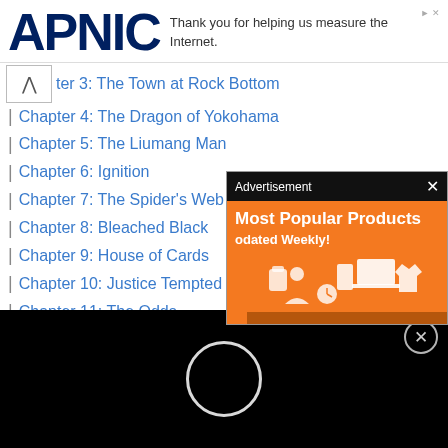APNIC — Thank you for helping us measure the Internet.
ter 3: The Town at Rock Bottom
Chapter 4: The Dragon of Yokohama
Chapter 5: The Liumang Man
Chapter 6: Ignition
Chapter 7: The Spider's Web
Chapter 8: Bleached Black
Chapter 9: House of Cards
Chapter 10: Justice Tempted By D
Chapter 11: The Odds
Chapter 12: The End of the Yakuza
Chapter 13: Coin Locker Baby
Chapter 14: Passing the Torch
[Figure (screenshot): Advertisement popup with orange background showing 'Most Popular Products Updated Weekly!' with tech product icons, and a close X button.]